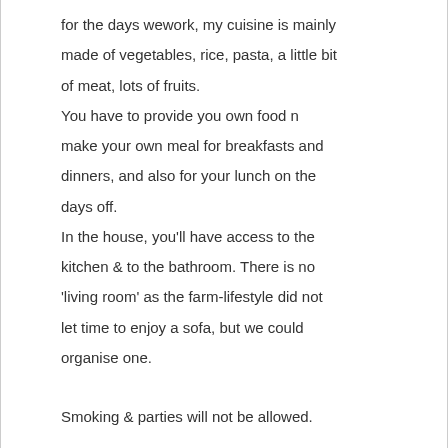for the days wework, my cuisine is mainly made of vegetables, rice, pasta, a little bit of meat, lots of fruits.
You have to provide you own food n make your own meal for breakfasts and dinners, and also for your lunch on the days off.
In the house, you'll have access to the kitchen & to the bathroom. There is no 'living room' as the farm-lifestyle did not let time to enjoy a sofa, but we could organise one.
Smoking & parties will not be allowed.